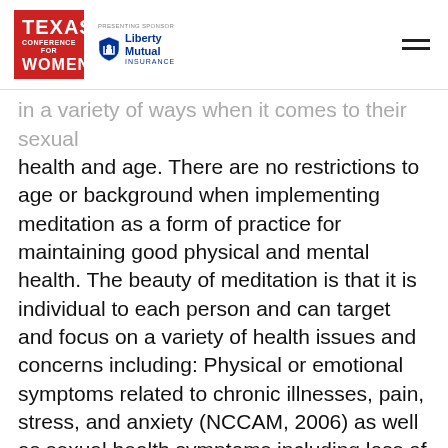Texas Conference for Women | Presenting Sponsor: Liberty Mutual Insurance
in a variety of ways when it comes to their sexual health and age. There are no restrictions to age or background when implementing meditation as a form of practice for maintaining good physical and mental health. The beauty of meditation is that it is individual to each person and can target and focus on a variety of health issues and concerns including: Physical or emotional symptoms related to chronic illnesses, pain, stress, and anxiety (NCCAM, 2006) as well as sexual health symptoms including loss of libido, painful intercourse, as well as orgasmic disorder. Such symptoms and conditions are prevalent in women of all ages, especially as they age. Talking to your health care practitioner about meditation and your personal health status can help you identify ways